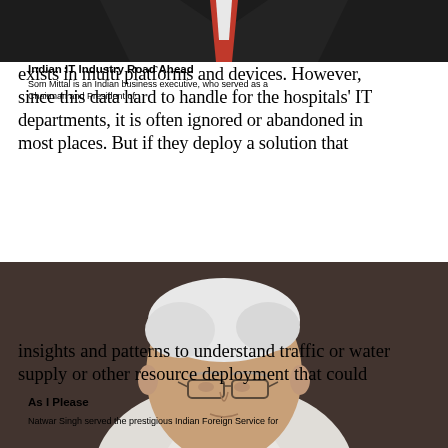[Figure (photo): Top portion of a man in a dark suit with a red tie, cropped to show torso only]
Indian IT Industry Road Ahead
Som Mittal is an Indian business executive, who served as a Chairman and President of.
exists in multi platforms and devices. However, since this data hard to handle for the hospitals' IT departments, it is often ignored or abandoned in most places. But if they deploy a solution that
[Figure (photo): Portrait of an elderly Indian man with white hair, wearing glasses and a white shirt, seated against a dark background]
insights and patterns to understand traffic or water supply or other resource deployment that could
As I Please
Natwar Singh served the prestigious Indian Foreign Service for